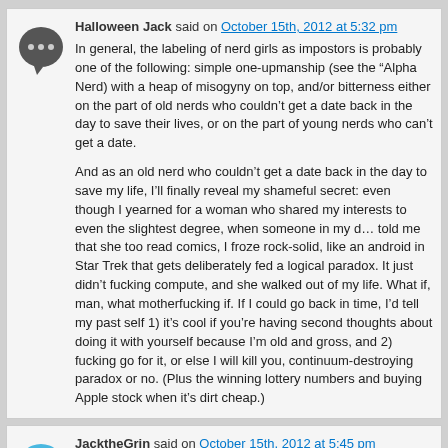Halloween Jack said on October 15th, 2012 at 5:32 pm
In general, the labeling of nerd girls as impostors is probably one of the following: simple one-upmanship (see the “Alpha Nerd) with a heap of misogyny on top, and/or bitterness either on the part of old nerds who couldn’t get a date back in the day to save their lives, or on the part of young nerds who can’t get a date.
And as an old nerd who couldn’t get a date back in the day to save my life, I’ll finally reveal my shameful secret: even though I yearned for a woman who shared my interests to even the slightest degree, when someone in my d… told me that she too read comics, I froze rock-solid, like an android in Star Trek that gets deliberately fed a logical paradox. It just didn’t fucking compute, and she walked out of my life. What if, man, what motherfucking if. If I could go back in time, I’d tell my past self 1) it’s cool if you’re having second thoughts about doing it with yourself because I’m old and gross, and 2) fucking go for it, or else I will kill you, continuum-destroying paradox or no. (Plus the winning lottery numbers and buying Apple stock when it’s dirt cheap.)
JacktheGrin said on October 15th, 2012 at 5:45 pm
Feel free to change it to "KingnYellogotSwag1995". That should be gender neutral, I reckon.
Of course, this is parsley to the steak that was my actual point.
Now I shall sit back and imagine today’s pop culture being obses…